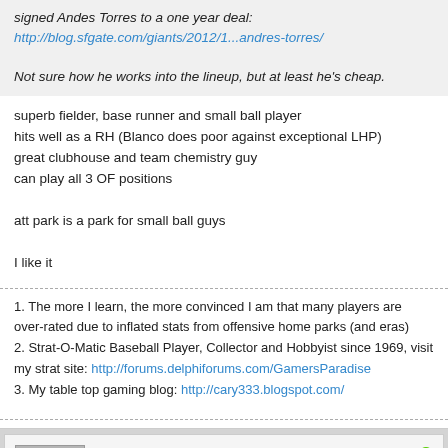signed Andes Torres to a one year deal:
http://blog.sfgate.com/giants/2012/1...andres-torres/

Not sure how he works into the lineup, but at least he's cheap.
superb fielder, base runner and small ball player
hits well as a RH (Blanco does poor against exceptional LHP)
great clubhouse and team chemistry guy
can play all 3 OF positions

att park is a park for small ball guys

I like it
1. The more I learn, the more convinced I am that many players are over-rated due to inflated stats from offensive home parks (and eras)
2. Strat-O-Matic Baseball Player, Collector and Hobbyist since 1969, visit my strat site: http://forums.delphiforums.com/GamersParadise
3. My table top gaming blog: http://cary333.blogspot.com/
Honus Wagner Rules
xFIP?! I laugh at you!
Join Date: Nov 2004   Posts: 29225